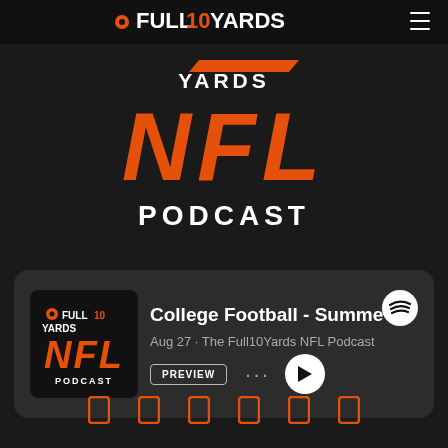[Figure (logo): Full10Yards NFL Podcast logo and branding. Top bar with Full10Yards header and hamburger menu. Center section showing YARDS / NFL (large orange italic) / PODCAST in white bold text on dark background.]
[Figure (screenshot): Spotify podcast card showing 'College Football - Summe' episode, Aug 27 · The Full10Yards NFL Podcast, with PREVIEW button, three-dot menu, and play button. Card has Full10Yards NFL Podcast album art on left.]
[Figure (other): Row of 6 orange share/export icons at bottom of page.]